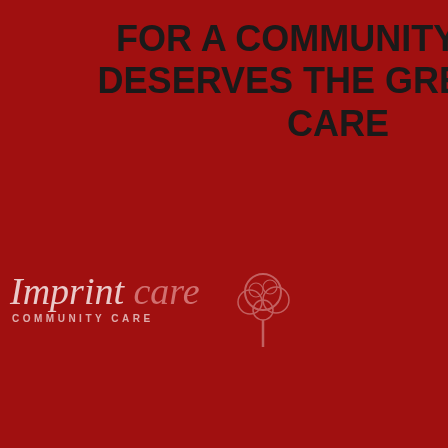[Figure (logo): Imprint Care Community Care logo with tree graphic on red background]
FOR A COMMUNITY THAT DESERVES THE GREATEST CARE
iftcate,
gree
y to
s –
te
ts
certificate without exam pie certificate sample
We produce certifiable enrolled records which are lawfully utilized and we likewise Buy High Quality Passports USA which are simply use for cover and can't be use legitimately, these kinds of archive are not vital so we produce on intense interest and request We additionally work with operators from top government offices inside the world who have every one of our customers data prepared from